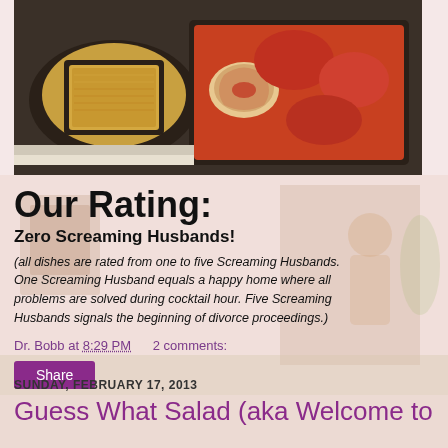[Figure (photo): Food photograph showing two baking dishes on a stove — one with a rice or grain dish (left) and one with chicken or meat in tomato sauce (right)]
Our Rating:
Zero Screaming Husbands!
(all dishes are rated from one to five Screaming Husbands. One Screaming Husband equals a happy home where all problems are solved during cocktail hour. Five Screaming Husbands signals the beginning of divorce proceedings.)
Dr. Bobb at 8:29 PM    2 comments:
Share
SUNDAY, FEBRUARY 17, 2013
Guess What Salad (aka Welcome to the idea...)